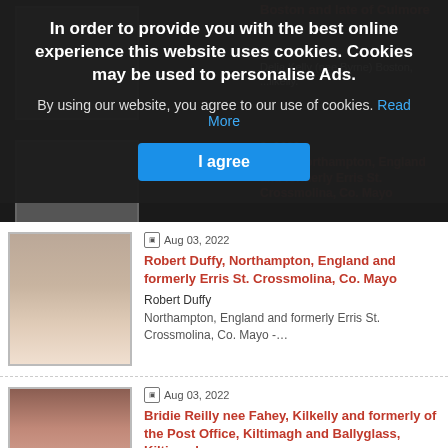[Figure (screenshot): Cookie consent overlay on a website showing obituary listings. Overlay has dark background with bold white text about cookies, a 'Read More' link, and a blue 'I agree' button. Behind the overlay are partial obituary listings with photos and red/dark text.]
In order to provide you with the best online experience this website uses cookies. Cookies may be used to personalise Ads.
By using our website, you agree to our use of cookies. Read More
I agree
Aug 03, 2022
Robert Duffy, Northampton, England and formerly Erris St. Crossmolina, Co. Mayo
Robert Duffy
Northampton, England and formerly Erris St. Crossmolina, Co. Mayo -…
Aug 03, 2022
Bridie Reilly nee Fahey, Kilkelly and formerly of the Post Office, Kiltimagh and Ballyglass, Kiltimagh
Bridie Reilly nee Fahey
Kilkolly and formerly of the Post